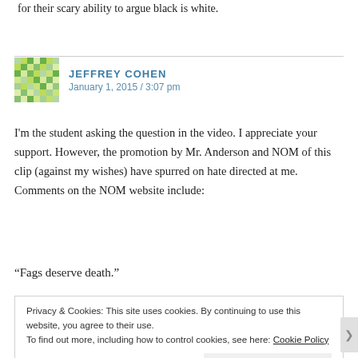for their scary ability to argue black is white.
JEFFREY COHEN
January 1, 2015 / 3:07 pm
I'm the student asking the question in the video. I appreciate your support. However, the promotion by Mr. Anderson and NOM of this clip (against my wishes) have spurred on hate directed at me. Comments on the NOM website include:
“Fags deserve death.”
Privacy & Cookies: This site uses cookies. By continuing to use this website, you agree to their use.
To find out more, including how to control cookies, see here: Cookie Policy
Close and accept